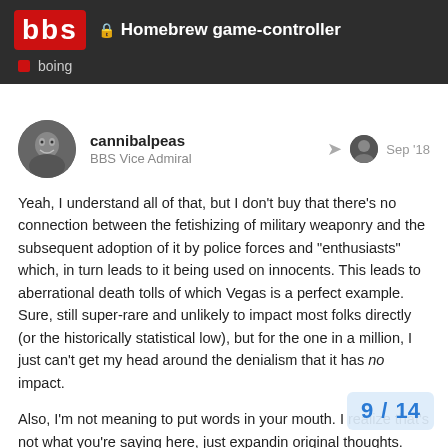🔒 Homebrew game-controller | bbs | boing
cannibalpeas
BBS Vice Admiral
Sep '18
Yeah, I understand all of that, but I don't buy that there's no connection between the fetishizing of military weaponry and the subsequent adoption of it by police forces and "enthusiasts" which, in turn leads to it being used on innocents. This leads to aberrational death tolls of which Vegas is a perfect example. Sure, still super-rare and unlikely to impact most folks directly (or the historically statistical low), but for the one in a million, I just can't get my head around the denialism that it has no impact.
Also, I'm not meaning to put words in your mouth. I realize that's not what you're saying here, just expandin original thoughts.
9 / 14